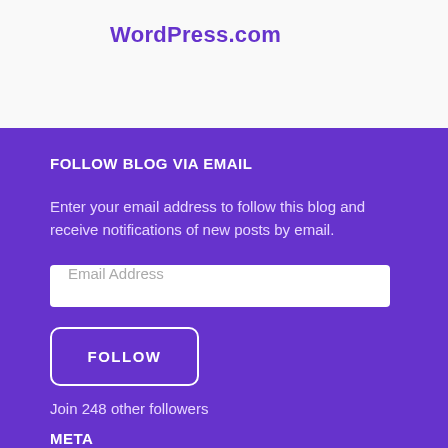WordPress.com
FOLLOW BLOG VIA EMAIL
Enter your email address to follow this blog and receive notifications of new posts by email.
Email Address
FOLLOW
Join 248 other followers
META